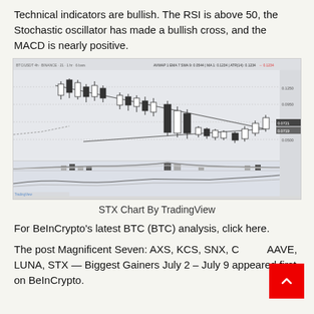Technical indicators are bullish. The RSI is above 50, the Stochastic oscillator has made a bullish cross, and the MACD is nearly positive.
[Figure (screenshot): STX/USDT candlestick chart from TradingView showing a descending triangle pattern with candlestick price action, volume bars at the bottom, and technical indicator panels below. The chart shows a downward trend with a recent bullish reversal near the apex of the triangle.]
STX Chart By TradingView
For BeInCrypto's latest BTC (BTC) analysis, click here.
The post Magnificent Seven: AXS, KCS, SNX, COMP, AAVE, LUNA, STX — Biggest Gainers July 2 – July 9 appeared first on BeInCrypto.